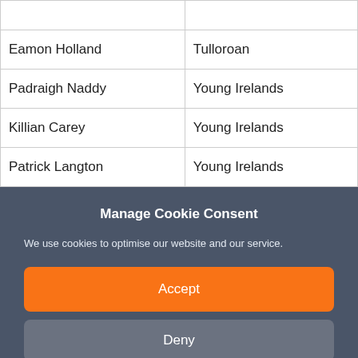|  |  |
| Eamon Holland | Tulloroan |
| Padraigh Naddy | Young Irelands |
| Killian Carey | Young Irelands |
| Patrick Langton | Young Irelands |
Manage Cookie Consent
We use cookies to optimise our website and our service.
Accept
Deny
View Preferences